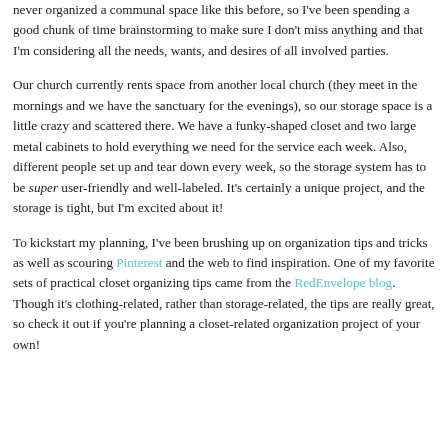never organized a communal space like this before, so I've been spending a good chunk of time brainstorming to make sure I don't miss anything and that I'm considering all the needs, wants, and desires of all involved parties.
Our church currently rents space from another local church (they meet in the mornings and we have the sanctuary for the evenings), so our storage space is a little crazy and scattered there. We have a funky-shaped closet and two large metal cabinets to hold everything we need for the service each week. Also, different people set up and tear down every week, so the storage system has to be super user-friendly and well-labeled. It's certainly a unique project, and the storage is tight, but I'm excited about it!
To kickstart my planning, I've been brushing up on organization tips and tricks as well as scouring Pinterest and the web to find inspiration. One of my favorite sets of practical closet organizing tips came from the RedEnvelope blog. Though it's clothing-related, rather than storage-related, the tips are really great, so check it out if you're planning a closet-related organization project of your own!